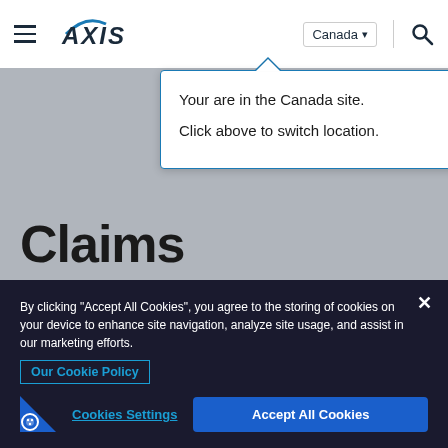[Figure (screenshot): AXIS Insurance website header with hamburger menu, AXIS logo, Canada country selector dropdown, and search icon]
Your are in the Canada site. Click above to switch location.
Claims
With access to a global netowork of specialized law firms and dedicated in-house attorneys, clients can rest assured
By clicking "Accept All Cookies", you agree to the storing of cookies on your device to enhance site navigation, analyze site usage, and assist in our marketing efforts.
Our Cookie Policy
Cookies Settings
Accept All Cookies